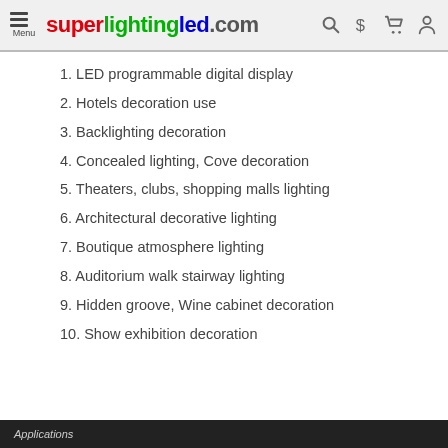superlightingled.com
1. LED programmable digital display
2. Hotels decoration use
3. Backlighting decoration
4. Concealed lighting, Cove decoration
5. Theaters, clubs, shopping malls lighting
6. Architectural decorative lighting
7. Boutique atmosphere lighting
8. Auditorium walk stairway lighting
9. Hidden groove, Wine cabinet decoration
10. Show exhibition decoration
Applications